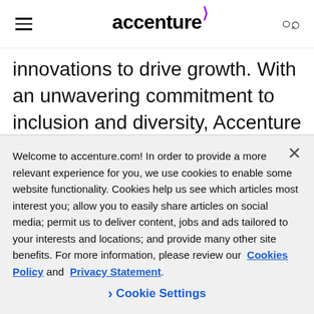accenture
innovations to drive growth. With an unwavering commitment to inclusion and diversity, Accenture is consistently recognized on FORTUNE's 100 Best Companies to Work For and Diversity/Inc's Top
Welcome to accenture.com! In order to provide a more relevant experience for you, we use cookies to enable some website functionality. Cookies help us see which articles most interest you; allow you to easily share articles on social media; permit us to deliver content, jobs and ads tailored to your interests and locations; and provide many other site benefits. For more information, please review our Cookies Policy and Privacy Statement.
Cookie Settings